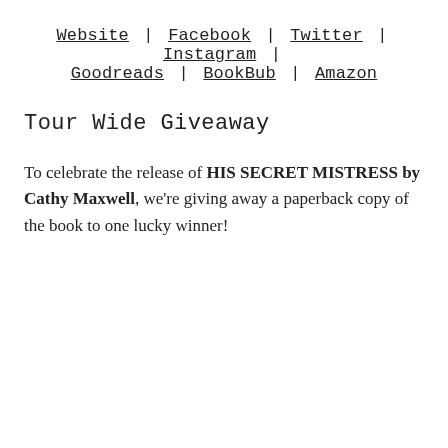Website | Facebook | Twitter | Instagram | Goodreads | BookBub | Amazon
Tour Wide Giveaway
To celebrate the release of HIS SECRET MISTRESS by Cathy Maxwell, we're giving away a paperback copy of the book to one lucky winner!